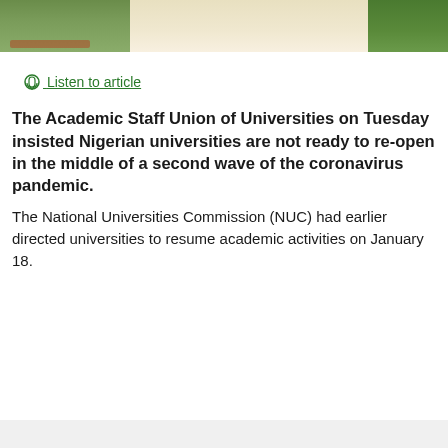[Figure (photo): Partial photograph showing an outdoor scene with green trees/grass on the left and a pale/cream-colored figure or structure in the center-right, cropped at top of page]
🎧 Listen to article
The Academic Staff Union of Universities on Tuesday insisted Nigerian universities are not ready to re-open in the middle of a second wave of the coronavirus pandemic.
The National Universities Commission (NUC) had earlier directed universities to resume academic activities on January 18.